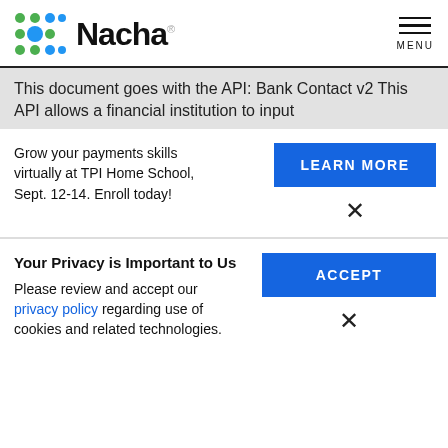[Figure (logo): Nacha logo with colorful dot grid and bold 'Nacha' wordmark]
MENU
This document goes with the API: Bank Contact v2 This API allows a financial institution to input
Grow your payments skills virtually at TPI Home School, Sept. 12-14. Enroll today!
LEARN MORE
×
Your Privacy is Important to Us
Please review and accept our privacy policy regarding use of cookies and related technologies.
ACCEPT
×